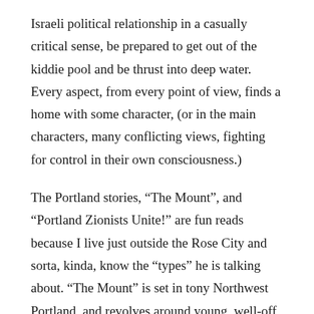Israeli political relationship in a casually critical sense, be prepared to get out of the kiddie pool and be thrust into deep water. Every aspect, from every point of view, finds a home with some character, (or in the main characters, many conflicting views, fighting for control in their own consciousness.)
The Portland stories, “The Mount”, and “Portland Zionists Unite!” are fun reads because I live just outside the Rose City and sorta, kinda, know the “types” he is talking about. “The Mount” is set in tony Northwest Portland, and revolves around young, well-off Jews who grew up in Orthodox or at least very conservative homes, that from the outside seemed cut-off from “normal” American society, but from the inside you see the struggle to be “normal” and the desire to escape from that lifestyle. The main characters, for the most part, all men, felt